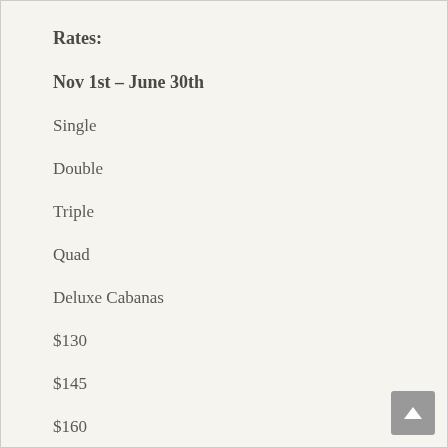Rates:
Nov 1st – June 30th
Single
Double
Triple
Quad
Deluxe Cabanas
$130
$145
$160
$170
River-View Cabanas
$80